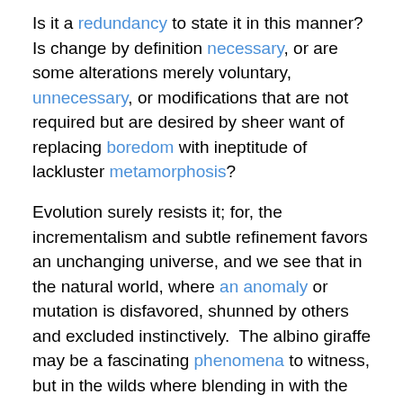Is it a redundancy to state it in this manner?  Is change by definition necessary, or are some alterations merely voluntary, unnecessary, or modifications that are not required but are desired by sheer want of replacing boredom with ineptitude of lackluster metamorphosis?
Evolution surely resists it; for, the incrementalism and subtle refinement favors an unchanging universe, and we see that in the natural world, where an anomaly or mutation is disfavored, shunned by others and excluded instinctively.  The albino giraffe may be a fascinating phenomena to witness, but in the wilds where blending in with the landscape in order to go unnoticed by predators lurking about is the key to the survival of not just the “fittest” — but the one who is passed by unnoticed by more powerful forces ready to pounce and devour.